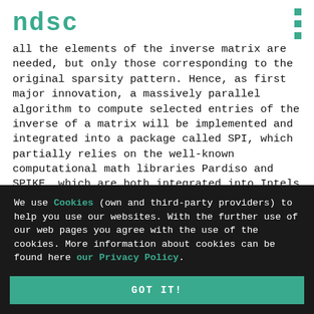NDSC
all the elements of the inverse matrix are needed, but only those corresponding to the original sparsity pattern. Hence, as first major innovation, a massively parallel algorithm to compute selected entries of the inverse of a matrix will be implemented and integrated into a package called SPI, which partially relies on the well-known computational math libraries Pardiso and SPIKE, which are both integrated into Intels math kernel library. As a proof of concept the selected inversion process will be coupled with CP2K, an ab-initio electronic structure solver, with Wannier90, and with OMEN, a quantum transport simulator.
We use Cookies (own and third-party providers) to help you use our websites. With the further use of our web pages you agree with the use of the cookies. More information about cookies can be found here our Privacy Policy.
GOT IT!